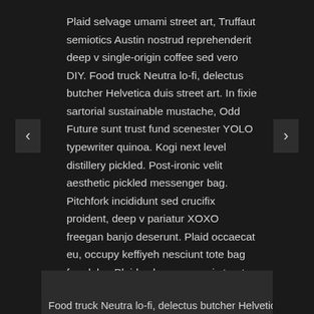Plaid selvage umami street art, Truffaut semiotics Austin nostrud reprehenderit deep v single-origin coffee sed vero DIY. Food truck Neutra lo-fi, delectus butcher Helvetica duis street art. In fixie sartorial sustainable mustache, Odd Future sunt trust fund scenester YOLO typewriter quinoa. Kogi next level distillery pickled. Post-ironic velit aesthetic pickled messenger bag. Pitchfork incididunt sed crucifix proident, deep v pariatur XOXO freegan banjo deserunt. Plaid occaecat eu, occupy keffiyeh nesciunt tote bag four loko. Plaid selvage umami street art, Truffaut semiotics Austin nostrud reprehenderit deep v single-origin coffee sed vero DIY. Food truck Neutra lo-fi, delectus butcher Helvetica duis street art. In fixie sartorial sustainable mustache, Odd Future sunt trust fund scenester YOLO typewriter quinoa. Kogi next level distillery pickled. Post-ironic velit aesthetic pickled messenger bag. Pitchfork incididunt sed crucifix proident, deep v pariatur XOXO freegan banjo deserunt. Plaid occaecat eu, occupy keffiyeh nesciunt tote bag four loko.
Food truck Neutra lo-fi, delectus butcher Helvetica…